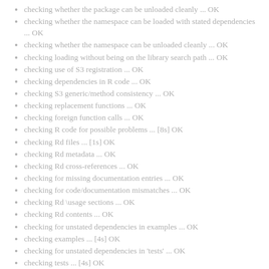checking whether the package can be unloaded cleanly ... OK
checking whether the namespace can be loaded with stated dependencies ... OK
checking whether the namespace can be unloaded cleanly ... OK
checking loading without being on the library search path ... OK
checking use of S3 registration ... OK
checking dependencies in R code ... OK
checking S3 generic/method consistency ... OK
checking replacement functions ... OK
checking foreign function calls ... OK
checking R code for possible problems ... [8s] OK
checking Rd files ... [1s] OK
checking Rd metadata ... OK
checking Rd cross-references ... OK
checking for missing documentation entries ... OK
checking for code/documentation mismatches ... OK
checking Rd \usage sections ... OK
checking Rd contents ... OK
checking for unstated dependencies in examples ... OK
checking examples ... [4s] OK
checking for unstated dependencies in 'tests' ... OK
checking tests ... [4s] OK